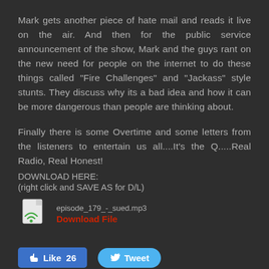Mark gets another piece of hate mail and reads it live on the air. And then for the public service announcement of the show, Mark and the guys rant on the new need for people on the internet to do these things called "Fire Challenges" and "Jackass" style stunts. They discuss why its a bad idea and how it can be more dangerous than people are thinking about.
Finally there is some Overtime and some letters from the listeners to entertain us all....It's the Q.....Real Radio, Real Honest!
DOWNLOAD HERE:
(right click and SAVE AS for D/L)
[Figure (other): File icon with green wireless signal symbol, filename: episode_179_-_sued.mp3, Download File link in red]
[Figure (other): Like button showing 26 likes and Tweet button]